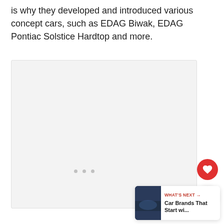is why they developed and introduced various concept cars, such as EDAG Biwak, EDAG Pontiac Solstice Hardtop and more.
[Figure (photo): Large image placeholder with light gray background, partially loaded or blank image area with three small dots at the bottom center indicating a loading state or image carousel.]
WHAT'S NEXT → Car Brands That Start wi...